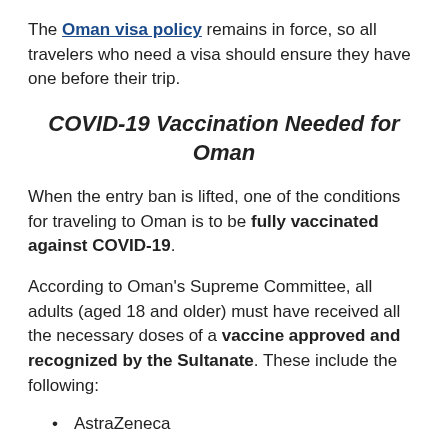The Oman visa policy remains in force, so all travelers who need a visa should ensure they have one before their trip.
COVID-19 Vaccination Needed for Oman
When the entry ban is lifted, one of the conditions for traveling to Oman is to be fully vaccinated against COVID-19.
According to Oman’s Supreme Committee, all adults (aged 18 and older) must have received all the necessary doses of a vaccine approved and recognized by the Sultanate. These include the following:
AstraZeneca
Covishield
Pfizer-BioNTech